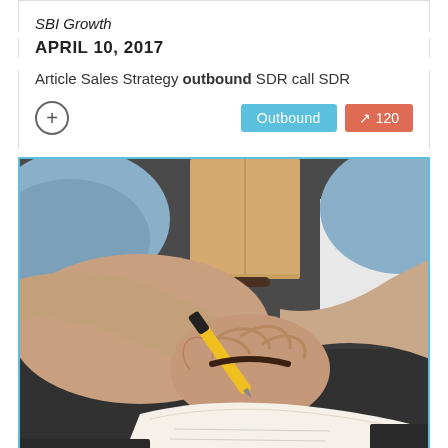SBI Growth
APRIL 10, 2017
Article Sales Strategy outbound SDR call SDR
[Figure (photo): Close-up photo of a person's hands writing on a notepad with a yellow and black pen, wearing a bracelet, sitting at a dark desk. A notebook is visible in the background.]